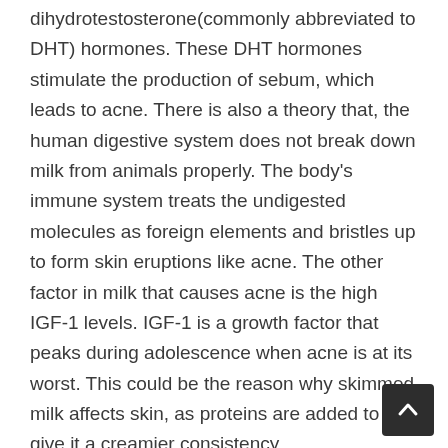dihydrotestosterone(commonly abbreviated to DHT) hormones. These DHT hormones stimulate the production of sebum, which leads to acne. There is also a theory that, the human digestive system does not break down milk from animals properly. The body's immune system treats the undigested molecules as foreign elements and bristles up to form skin eruptions like acne. The other factor in milk that causes acne is the high IGF-1 levels. IGF-1 is a growth factor that peaks during adolescence when acne is at its worst. This could be the reason why skimmed milk affects skin, as proteins are added to give it a creamier consistency.
Seafood and Spinach
Seafood such as lobsters, crabs, oysters, shrimps and spinach contain iodine. Studies from far back as the